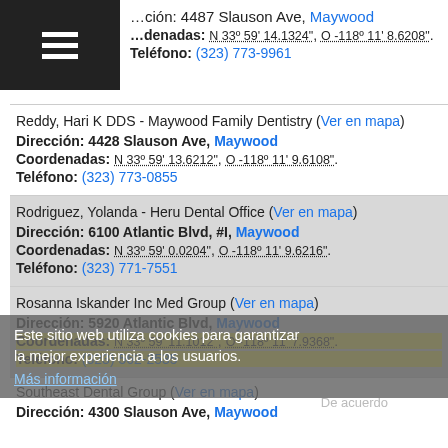ción: 4487 Slauson Ave, Maywood
denadas: N 33° 59' 14.1324", O -118° 11' 8.6208".
Teléfono: (323) 773-9961
Reddy, Hari K DDS - Maywood Family Dentistry (Ver en mapa)
Dirección: 4428 Slauson Ave, Maywood
Coordenadas: N 33° 59' 13.6212", O -118° 11' 9.6108".
Teléfono: (323) 773-0855
Rodriguez, Yolanda - Heru Dental Office (Ver en mapa)
Dirección: 6100 Atlantic Blvd, #I, Maywood
Coordenadas: N 33° 59' 0.0204", O -118° 11' 9.6216".
Teléfono: (323) 771-7551
Este sitio web utiliza cookies para garantizar la mejor experiencia a los usuarios.
Más información
Rosanna Iskander Inc Med Group (Ver en mapa)
Dirección: 5920 Atlantic Blvd, Maywood
Coordenadas: N 33° 59' 11.1012", O -118° 11' 7.9368".
Teléfono: (323) 562-2535
De acuerdo
Southeast Dental Group (Ver en mapa)
Dirección: 4300 Slauson Ave, Maywood